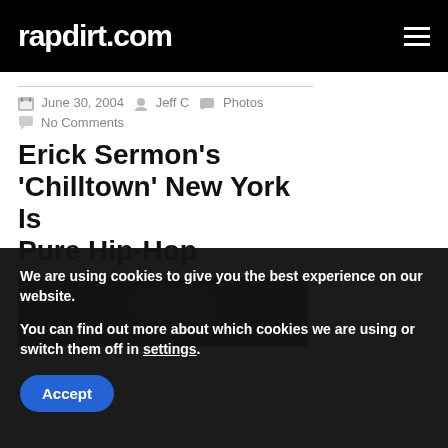rapdirt.com
June 30, 2004  Jeff C  Photos
No Comments
Erick Sermon's 'Chilltown' New York Is Pure Hip-Hop
[Figure (photo): Partially visible dark image, likely an album cover or press photo with dark background and a faint green/white shape.]
We are using cookies to give you the best experience on our website.
You can find out more about which cookies we are using or switch them off in settings.
Accept